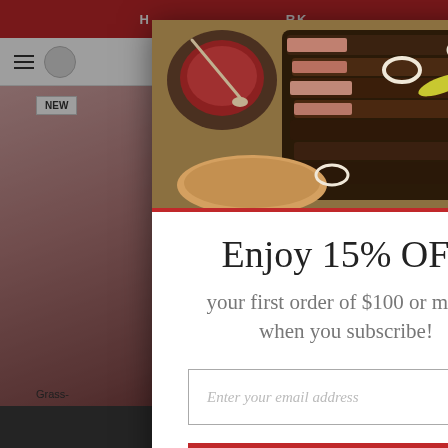[Figure (screenshot): Website background showing navigation bar with hamburger menu and cart icon, product images of grass-fed beef, and a dark bottom bar. A modal popup overlays the page.]
[Figure (photo): Food photo showing sliced BBQ brisket on a wooden cutting board with sauce, onion rings, and pepperoncini peppers.]
Enjoy 15% OFF
your first order of $100 or more* when you subscribe!
Enter your email address
ACTIVATE OFFER
No Thank You